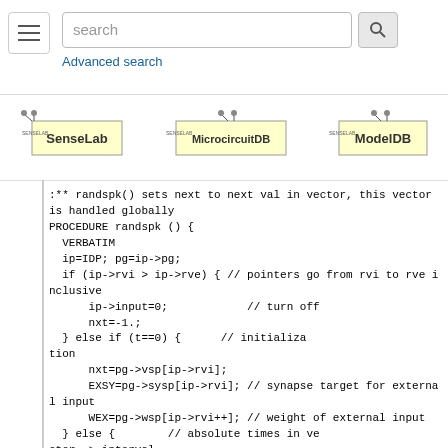[Figure (screenshot): Navigation bar with hamburger menu, search box with 'search' placeholder, search button, and 'Advanced search' link]
[Figure (screenshot): Three logos in a row: SenseLab, MicrocircuitDB, ModelDB]
:** randspk() sets next to next val in vector, this vector is handled globally
PROCEDURE randspk () {
  VERBATIM
  ip=IDP; pg=ip->pg;
  if (ip->rvi > ip->rve) { // pointers go from rvi to rve inclusive
      ip->input=0;            // turn off
      nxt=-1.;
  } else if (t==0) {      // initialization
      nxt=pg->vsp[ip->rvi];
      EXSY=pg->sysp[ip->rvi]; // synapse target for external input
      WEX=pg->wsp[ip->rvi++]; // weight of external input
  } else {        // absolute times in vector -> interval